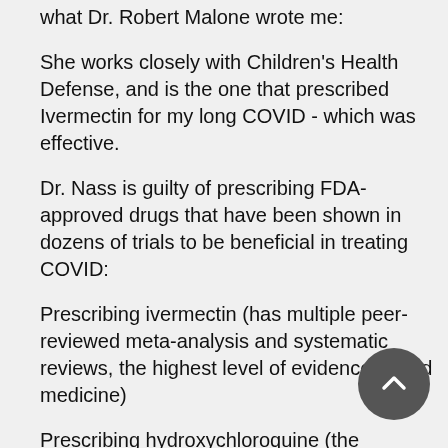what Dr. Robert Malone wrote me:
She works closely with Children's Health Defense, and is the one that prescribed Ivermectin for my long COVID - which was effective.
Dr. Nass is guilty of prescribing FDA-approved drugs that have been shown in dozens of trials to be beneficial in treating COVID:
Prescribing ivermectin (has multiple peer-reviewed meta-analysis and systematic reviews, the highest level of evidence-based medicine)
Prescribing hydroxychloroquine (the Boulware trial which I funded found that HCQ was effective, and a subsequent analysis by David